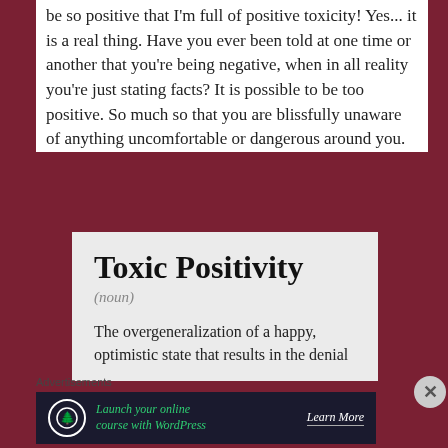be so positive that I'm full of positive toxicity! Yes... it is a real thing. Have you ever been told at one time or another that you're being negative, when in all reality you're just stating facts? It is possible to be too positive. So much so that you are blissfully unaware of anything uncomfortable or dangerous around you.
[Figure (infographic): Definition card for 'Toxic Positivity' on a light grey background. Shows the title 'Toxic Positivity', label '(noun)', and partial definition text 'The overgeneralization of a happy, optimistic state that results in the denial']
Advertisements
[Figure (infographic): Advertisement banner with dark background. Icon of a person with tree. Text: 'Launch your online course with WordPress' with 'Learn More' button in white.]